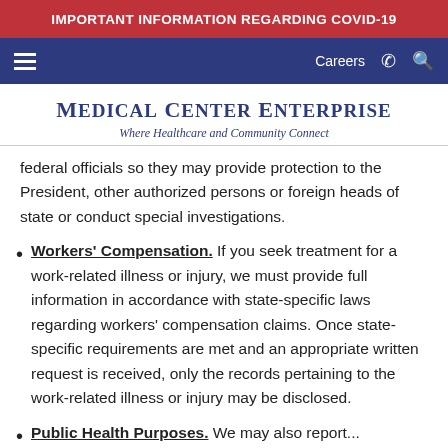IMPORTANT INFORMATION REGARDING COVID-19
Careers
Medical Center Enterprise
Where Healthcare and Community Connect
federal officials so they may provide protection to the President, other authorized persons or foreign heads of state or conduct special investigations.
Workers' Compensation. If you seek treatment for a work-related illness or injury, we must provide full information in accordance with state-specific laws regarding workers' compensation claims. Once state-specific requirements are met and an appropriate written request is received, only the records pertaining to the work-related illness or injury may be disclosed.
Public Health Purposes. We may also report…